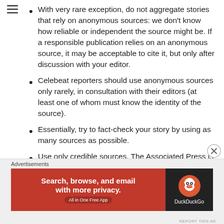With very rare exception, do not aggregate stories that rely on anonymous sources: we don't know how reliable or independent the source might be. If a responsible publication relies on an anonymous source, it may be acceptable to cite it, but only after discussion with your editor.
Celebeat reporters should use anonymous sources only rarely, in consultation with their editors (at least one of whom must know the identity of the source).
Essentially, try to fact-check your story by using as many sources as possible.
Use only credible sources. The Associated Press is a good source. Wikipedia is not.
[Figure (infographic): DuckDuckGo advertisement banner: red background with white text 'Search, browse, and email with more privacy. All in One Free App' on the left, and DuckDuckGo logo on dark background on the right.]
Advertisements